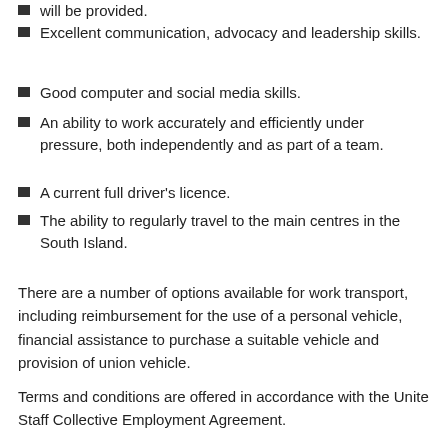will be provided.
Excellent communication, advocacy and leadership skills.
Good computer and social media skills.
An ability to work accurately and efficiently under pressure, both independently and as part of a team.
A current full driver's licence.
The ability to regularly travel to the main centres in the South Island.
There are a number of options available for work transport, including reimbursement for the use of a personal vehicle, financial assistance to purchase a suitable vehicle and provision of union vehicle.
Terms and conditions are offered in accordance with the Unite Staff Collective Employment Agreement.